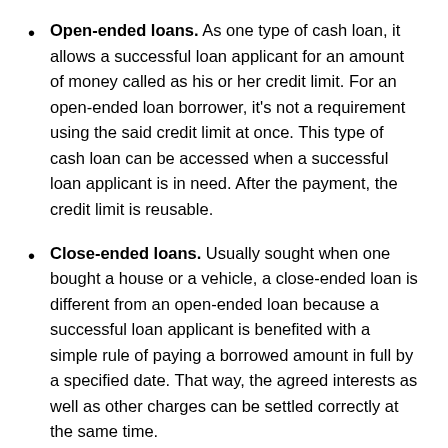Open-ended loans. As one type of cash loan, it allows a successful loan applicant for an amount of money called as his or her credit limit. For an open-ended loan borrower, it's not a requirement using the said credit limit at once. This type of cash loan can be accessed when a successful loan applicant is in need. After the payment, the credit limit is reusable.
Close-ended loans. Usually sought when one bought a house or a vehicle, a close-ended loan is different from an open-ended loan because a successful loan applicant is benefited with a simple rule of paying a borrowed amount in full by a specified date. That way, the agreed interests as well as other charges can be settled correctly at the same time.